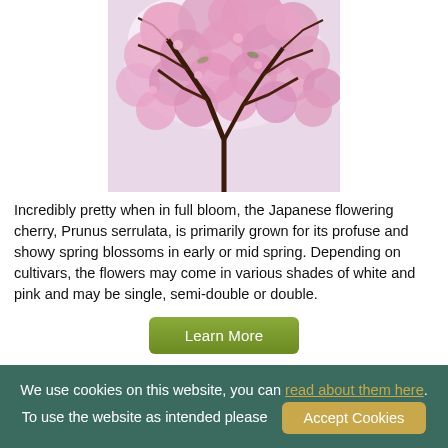[Figure (photo): Photograph of a Japanese flowering cherry tree (Prunus serrulata) in full bloom, viewed from below looking up through the branches covered in pink blossoms against a bright sky.]
Incredibly pretty when in full bloom, the Japanese flowering cherry, Prunus serrulata, is primarily grown for its profuse and showy spring blossoms in early or mid spring. Depending on cultivars, the flowers may come in various shades of white and pink and may be single, semi-double or double.
Learn More
We use cookies on this website, you can read about them here. To use the website as intended please  Accept Cookies